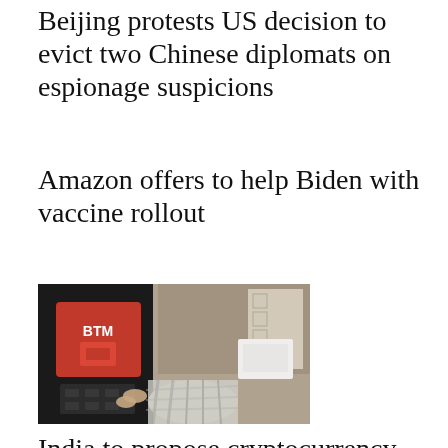Beijing protests US decision to evict two Chinese diplomats on espionage suspicions
Amazon offers to help Biden with vaccine rollout
[Figure (photo): A person using a BTM (Bitcoin ATM) kiosk with a red screen displaying 'BTM' logo, in what appears to be a retail setting.]
India to propose cryptocurrency ban -source